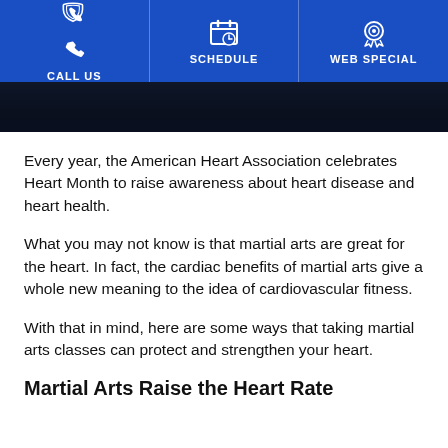CALL US | SCHEDULE | WEB SPECIAL
[Figure (screenshot): Dark hero banner image showing martial arts scene]
Every year, the American Heart Association celebrates Heart Month to raise awareness about heart disease and heart health.
What you may not know is that martial arts are great for the heart. In fact, the cardiac benefits of martial arts give a whole new meaning to the idea of cardiovascular fitness.
With that in mind, here are some ways that taking martial arts classes can protect and strengthen your heart.
Martial Arts Raise the Heart Rate